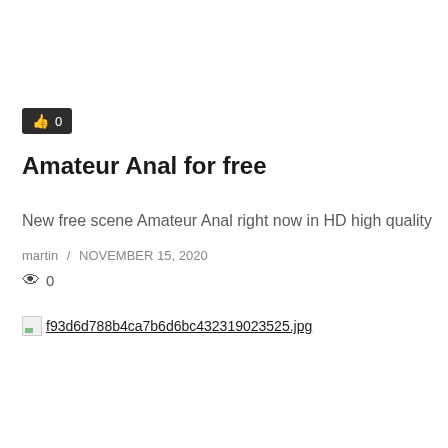[Figure (other): Like button with thumbs-up icon showing count 0 on dark background]
Amateur Anal for free
New free scene Amateur Anal right now in HD high quality
martin / NOVEMBER 15, 2020
👁 0
[Figure (photo): Broken image placeholder with filename f93d6d788b4ca7b6d6bc432319023525.jpg]